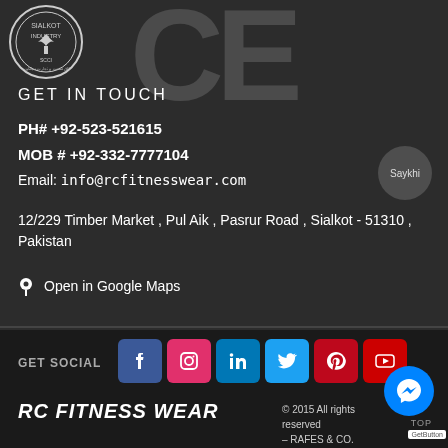[Figure (logo): SCCI Sialkot Industry circular logo top left]
GET IN TOUCH
PH# +92-523-521615
MOB # +92-332-7777104
Email: info@rcfitnesswear.com
12/229 Timber Market , Pul Aik , Pasrur Road , Sialkot - 51310 , Pakistan
Open in Google Maps
GET SOCIAL
[Figure (illustration): Social media icons row: Facebook, Instagram, LinkedIn, Twitter, Pinterest, YouTube]
RC FITNESS WEAR
© 2015 All rights reserved – RAFES & CO.